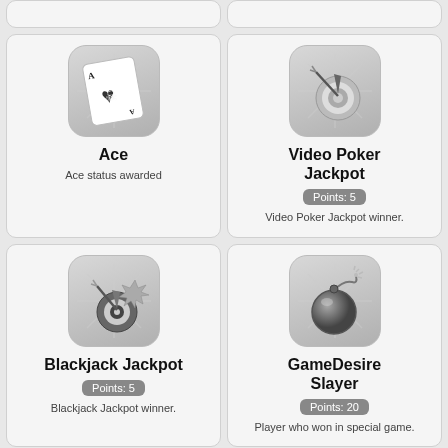[Figure (illustration): Partial top strip card on left]
[Figure (illustration): Partial top strip card on right]
[Figure (illustration): Ace achievement badge icon - playing card with skull]
Ace
Ace status awarded
[Figure (illustration): Video Poker Jackpot achievement badge icon - dart hitting bullseye target]
Video Poker Jackpot
Points: 5
Video Poker Jackpot winner.
[Figure (illustration): Blackjack Jackpot achievement badge icon - dart hitting target with explosion]
Blackjack Jackpot
Points: 5
Blackjack Jackpot winner.
[Figure (illustration): GameDesire Slayer achievement badge icon - bomb with sparkling fuse]
GameDesire Slayer
Points: 20
Player who won in special game.